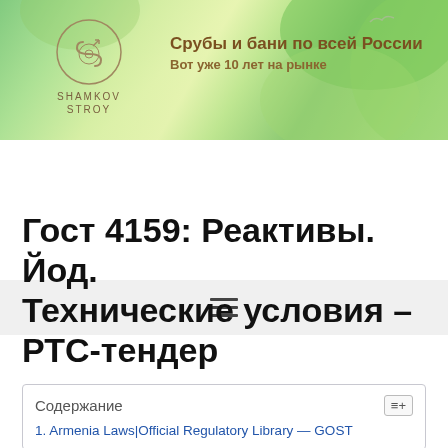[Figure (logo): Shamkov Stroy logo with circular emblem and green nature background banner. Text: Срубы и бани по всей России / Вот уже 10 лет на рынке / SHAMKOV STROY]
[Figure (other): Navigation bar with hamburger menu icon (three horizontal lines) on grey background]
Гост 4159: Реактивы. Йод. Технические условия – РТС-тендер
Содержание
1. Armenia Laws|Official Regulatory Library — GOST